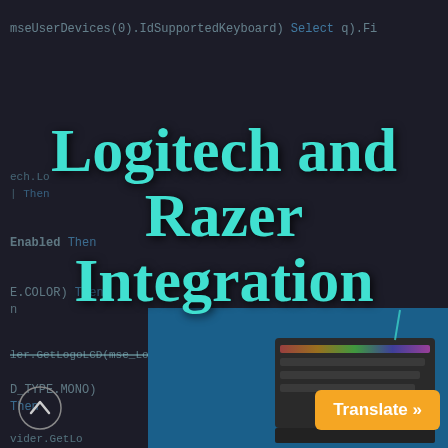[Figure (screenshot): Dark-themed code editor screenshot showing code with cyan/blue keywords. Lines include mseUserDevices(0).IdSupportedKeyboard) Select q).Fi, ech.LogI_D...logitech.RG...logitech, | Then, Enabled Then, E.COLOR) Then, n, ler.GetLogoLCD(mse_Logo_LCD.Color)) with a strikethrough line, D_TYPE.MONO), Then, vider.GetLo]
Logitech and Razer Integration
[Figure (photo): Photo of a Logitech mechanical gaming keyboard with RGB lighting, shown at the bottom of the page against a blue background]
Translate »